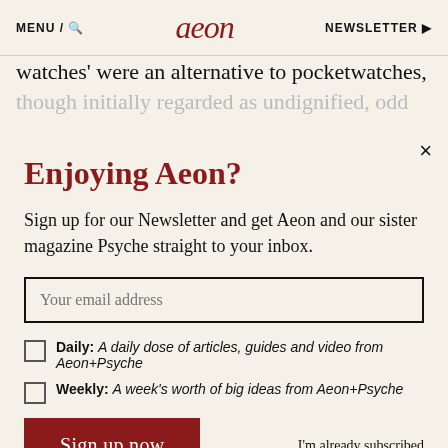MENU / [search icon] aeon NEWSLETTER [person icon]
watches' were an alternative to pocketwatches, though initially regarded as undignified, odd
Enjoying Aeon?
Sign up for our Newsletter and get Aeon and our sister magazine Psyche straight to your inbox.
Your email address
Daily: A daily dose of articles, guides and video from Aeon+Psyche
Weekly: A week's worth of big ideas from Aeon+Psyche
Sign up now
I'm already subscribed
Privacy policy